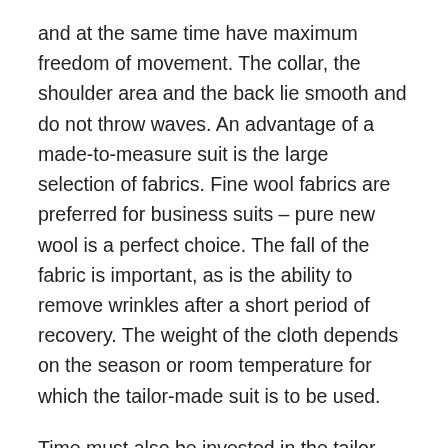and at the same time have maximum freedom of movement. The collar, the shoulder area and the back lie smooth and do not throw waves. An advantage of a made-to-measure suit is the large selection of fabrics. Fine wool fabrics are preferred for business suits – pure new wool is a perfect choice. The fall of the fabric is important, as is the ability to remove wrinkles after a short period of recovery. The weight of the cloth depends on the season or room temperature for which the tailor-made suit is to be used.
Time must also be invested in the tailor-made suit. After all, the pattern for the tailor-made suit has yet to be created by the tailor. To do this, the customer is measured at the first meeting. This is one of the most important steps in addition to fabric selection and